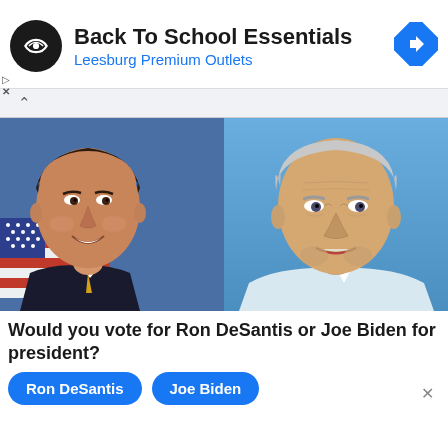[Figure (screenshot): Facebook ad banner for 'Back To School Essentials' at Leesburg Premium Outlets, with circular logo and navigation icon]
[Figure (photo): Side-by-side photos of Ron DeSantis (left, smiling in front of American flag) and Joe Biden (right, speaking against blue background)]
Would you vote for Ron DeSantis or Joe Biden for president?
Ron DeSantis   Joe Biden